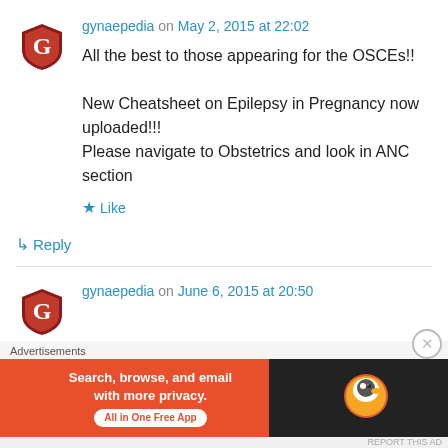[Figure (logo): Gynaepedia logo - red shield with G letter]
gynaepedia on May 2, 2015 at 22:02
All the best to those appearing for the OSCEs!!

New Cheatsheet on Epilepsy in Pregnancy now uploaded!!!
Please navigate to Obstetrics and look in ANC section
★ Like
↳ Reply
[Figure (logo): Gynaepedia logo - red shield with G letter]
gynaepedia on June 6, 2015 at 20:50
Advertisements
[Figure (infographic): DuckDuckGo advertisement banner: Search, browse, and email with more privacy. All in One Free App]